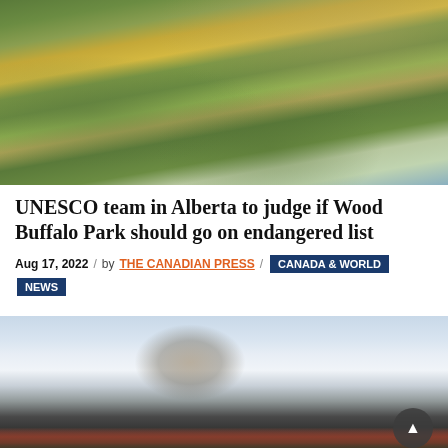[Figure (photo): Aerial photograph of a forested landscape with autumn foliage in shades of green, yellow and orange, with water visible in the upper right and some buildings/roads visible]
UNESCO team in Alberta to judge if Wood Buffalo Park should go on endangered list
Aug 17, 2022 / by THE CANADIAN PRESS / CANADA & WORLD NEWS
[Figure (photo): A fire truck with smoke rising against a cloudy sky and bare trees in the background]
Get UNLIMITED data and save up to $410!* — Mascon by TELUS advertisement. Learn More button.